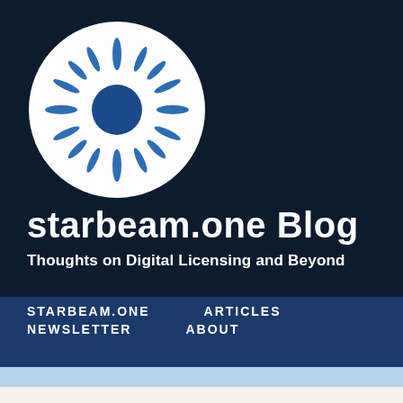[Figure (logo): Starbeam.one circular logo: white circle with dark navy blue center circle and radiating blue spokes/rays around it on a dark navy background]
starbeam.one Blog
Thoughts on Digital Licensing and Beyond
STARBEAM.ONE   ARTICLES   NEWSLETTER   ABOUT